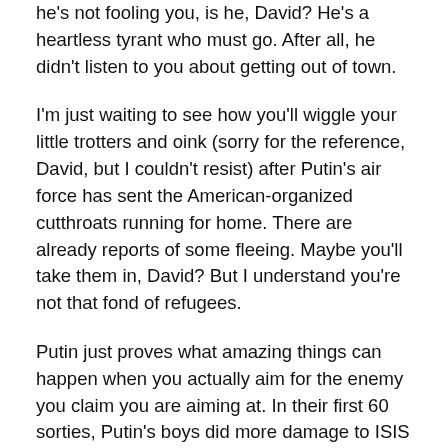he's not fooling you, is he, David? He's a heartless tyrant who must go. After all, he didn't listen to you about getting out of town.
I'm just waiting to see how you'll wiggle your little trotters and oink (sorry for the reference, David, but I couldn't resist) after Putin's air force has sent the American-organized cutthroats running for home. There are already reports of some fleeing. Maybe you'll take them in, David? But I understand you're not that fond of refugees.
Putin just proves what amazing things can happen when you actually aim for the enemy you claim you are aiming at. In their first 60 sorties, Putin's boys did more damage to ISIS than America's claimed 6,000 or so. But then that could be because Americans spend so much effort bombing things like hospitals, or don't you agree, David?